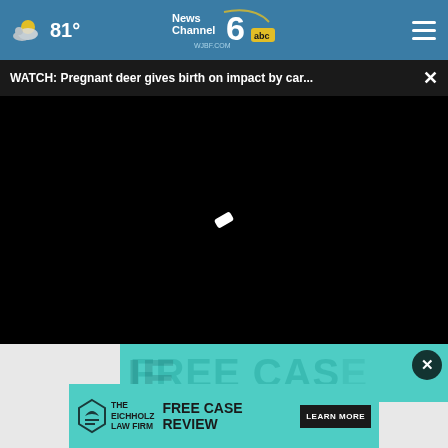81° News Channel 6 abc WJBF.COM
WATCH: Pregnant deer gives birth on impact by car...
[Figure (screenshot): Black video player area with loading spinner in center]
[Figure (screenshot): Advertisement for The Eichholz Law Firm - Free Case Review with Learn More button on teal background]